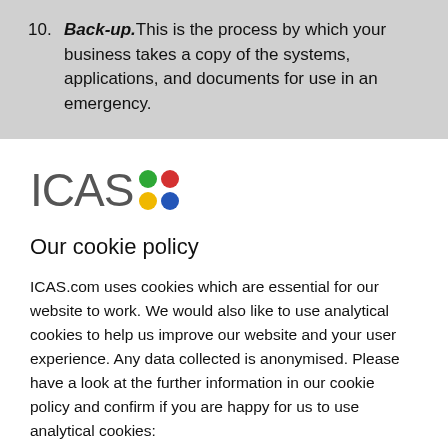10. Back-up. This is the process by which your business takes a copy of the systems, applications, and documents for use in an emergency.
[Figure (logo): ICAS logo with grey 'ICAS' text and four colored dots (green, red, yellow, blue) arranged in a 2x2 grid]
Our cookie policy
ICAS.com uses cookies which are essential for our website to work. We would also like to use analytical cookies to help us improve our website and your user experience. Any data collected is anonymised. Please have a look at the further information in our cookie policy and confirm if you are happy for us to use analytical cookies: